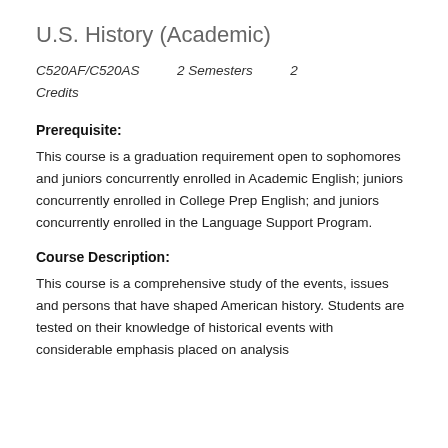U.S. History (Academic)
C520AF/C520AS    2 Semesters    2 Credits
Prerequisite:
This course is a graduation requirement open to sophomores and juniors concurrently enrolled in Academic English; juniors concurrently enrolled in College Prep English; and juniors concurrently enrolled in the Language Support Program.
Course Description:
This course is a comprehensive study of the events, issues and persons that have shaped American history. Students are tested on their knowledge of historical events with considerable emphasis placed on analysis